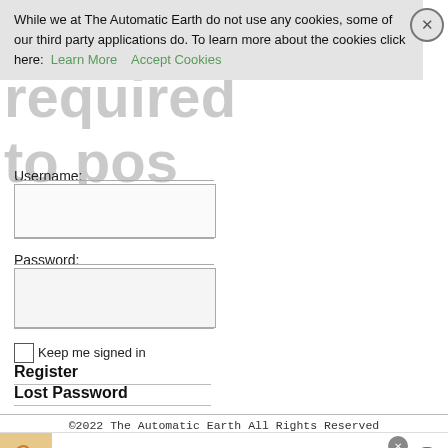While we at The Automatic Earth do not use any cookies, some of our third party applications do. To learn more about the cookies click here: Learn More  Accept Cookies
Login required to post
Username:
Password:
Keep me signed in
Register
Lost Password
©2022 The Automatic Earth All Rights Reserved
[Figure (screenshot): Advertisement banner: ear illustration on left, text 'Do This To Fight "Ringing In The Ears"', subtitle '100% Natural Treatment Has Stunned Doctors - Watch The Video', url 'www.naturalhealthcures.net', blue play button on right]